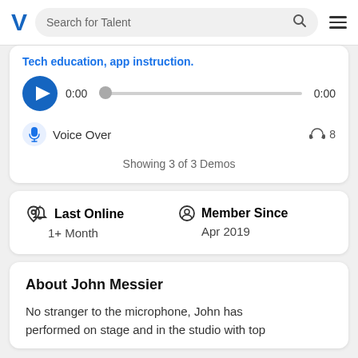V  Search for Talent
Tech education, app instruction.
[Figure (other): Audio player with play button, time slider showing 0:00 to 0:00]
Voice Over  🎧 8
Showing 3 of 3 Demos
Last Online  1+ Month
Member Since  Apr 2019
About John Messier
No stranger to the microphone, John has performed on stage and in the studio with top